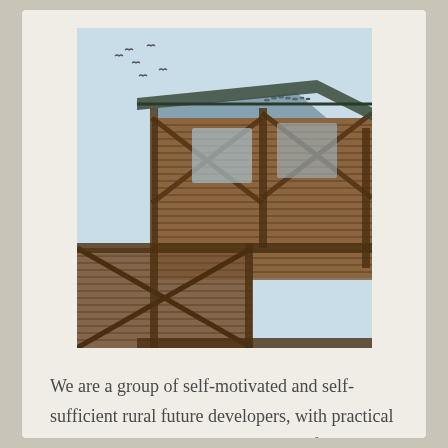[Figure (photo): A wooden elevated structure or tower with diagonal cross-bracing timbers and horizontal slatted wood panels, photographed from below against a light blue sky with birds flying overhead. The structure appears to be an ecologic or sustainable architecture building with exposed wooden framework forming X-patterns.]
We are a group of self-motivated and self-sufficient rural future developers, with practical & ecologic architecture as our main focus. The international festival we created has been a central event for the manifestation and exchange of the gathered